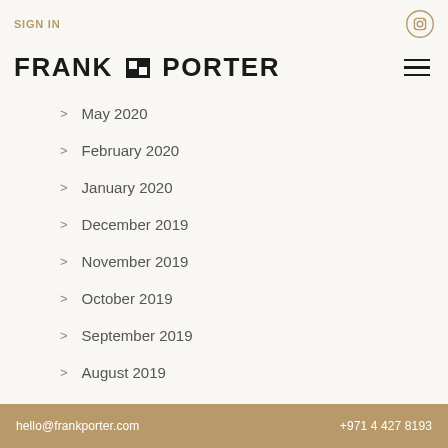SIGN IN
FRANK & PORTER
May 2020
February 2020
January 2020
December 2019
November 2019
October 2019
September 2019
August 2019
July 2019
hello@frankporter.com   +971 4 427 8193